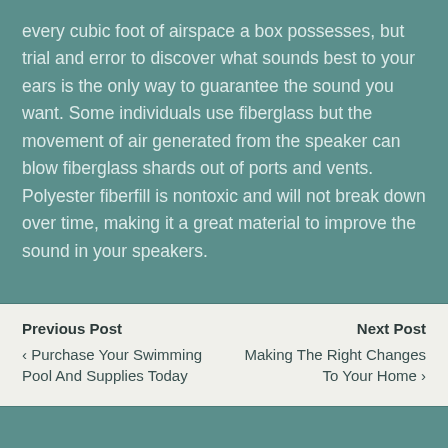every cubic foot of airspace a box possesses, but trial and error to discover what sounds best to your ears is the only way to guarantee the sound you want. Some individuals use fiberglass but the movement of air generated from the speaker can blow fiberglass shards out of ports and vents. Polyester fiberfill is nontoxic and will not break down over time, making it a great material to improve the sound in your speakers.
Previous Post | ‹ Purchase Your Swimming Pool And Supplies Today || Next Post | Making The Right Changes To Your Home ›
⇑ Back to top